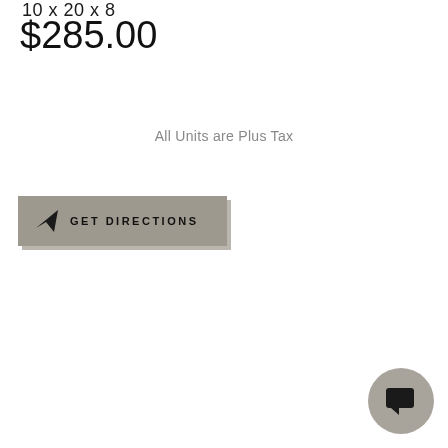10 x 20 x 8
$285.00
All Units are Plus Tax
[Figure (other): A grey button with navigation arrow icon and text GET DIRECTIONS]
[Figure (other): A round grey chat/message bubble icon button in the bottom right corner]